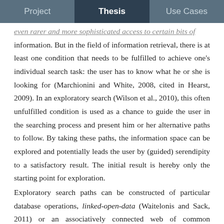Project | Thesis | Use Cases
even rarer and more sophisticated access to certain bits of information. But in the field of information retrieval, there is at least one condition that needs to be fulfilled to achieve one's individual search task: the user has to know what he or she is looking for (Marchionini and White, 2008, cited in Hearst, 2009). In an exploratory search (Wilson et al., 2010), this often unfulfilled condition is used as a chance to guide the user in the searching process and present him or her alternative paths to follow. By taking these paths, the information space can be explored and potentially leads the user by (guided) serendipity to a satisfactory result. The initial result is hereby only the starting point for exploration.
Exploratory search paths can be constructed of particular database operations, linked-open-data (Waitelonis and Sack, 2011) or an associatively connected web of common hyperlinks. In a hypervideo environment, these paths could also consist of interlinked film sequences, which do not represent results but rather